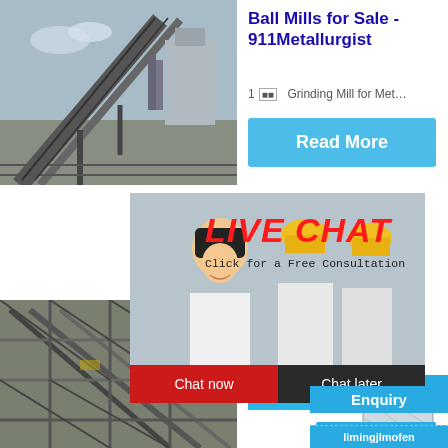[Figure (photo): Industrial conveyor belt / mining facility photo, top left]
Ball Mills for Sale - 911Metallurgist
1 🔲🔲  Grinding Mill for Met…
Read More
[Figure (photo): Live chat popup with workers in yellow hard hats]
LIVE CHAT
Click for a Free Consultation
Chat now
Chat later
[Figure (photo): Industrial scaffolding / steel structure, bottom left]
Metall…
2016-5-2…
Read…
hour online
[Figure (photo): Crusher machine photo]
Click me to chat>>
Enquiry
limingjlmofen